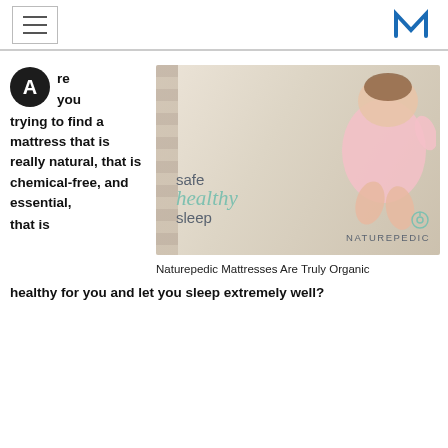Are you trying to find a mattress that is really natural, that is chemical-free, and essential, that is healthy for you and let you sleep extremely well?
[Figure (photo): Photo of a baby lying on a mattress with text overlay reading 'safe healthy sleep' and Naturepedic branding]
Naturepedic Mattresses Are Truly Organic